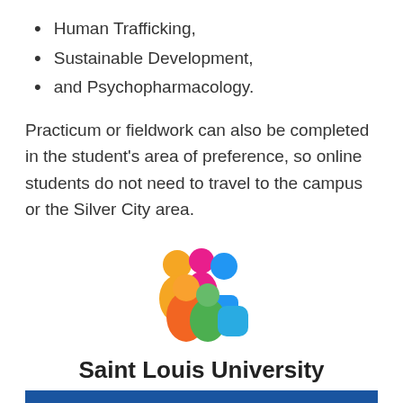Human Trafficking,
Sustainable Development,
and Psychopharmacology.
Practicum or fieldwork can also be completed in the student's area of preference, so online students do not need to travel to the campus or the Silver City area.
[Figure (logo): Saint Louis University colorful group of people icon/logo mark]
Saint Louis University